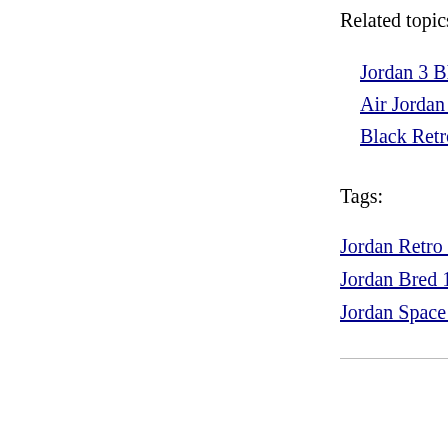Related topics↵
Jordan 3 Bla...
Air Jordan 4...
Black Retro...
Tags:
Jordan Retro 12 Fi...
Jordan Bred 1 Size...
Jordan Space Jams...
© Copyright 2001-2020 Air Jordan Red Whi... | Amc West Jordan 12 May 5Th|95 Nba Jordan Card 3 Of 12 Tota...